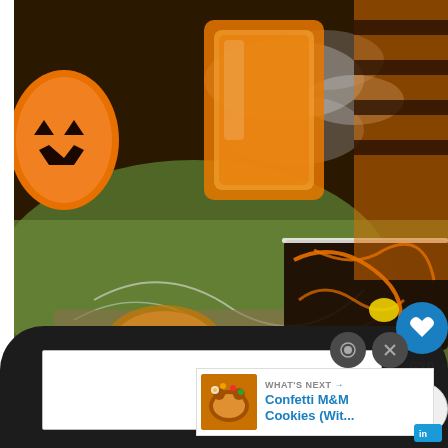[Figure (photo): Halloween-themed photo showing a spooky table scene with orange punch in a glass jar with dry ice smoke, plastic spider decorations on green fabric, an orange and black decorative plate, a jack-o-lantern napkin or placemat, and Halloween pumpkin decorations]
639
WHAT'S NEXT → Confetti M&M Cookies (Wit...